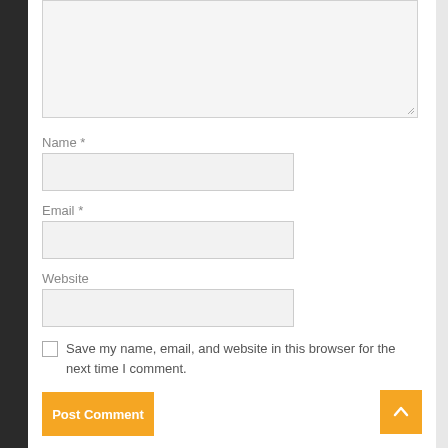[Figure (screenshot): Comment form textarea (empty, light gray background)]
Name *
[Figure (screenshot): Name input field (empty, light gray background)]
Email *
[Figure (screenshot): Email input field (empty, light gray background)]
Website
[Figure (screenshot): Website input field (empty, light gray background)]
Save my name, email, and website in this browser for the next time I comment.
[Figure (screenshot): Post Comment button (orange) and scroll-to-top button (orange with up arrow)]